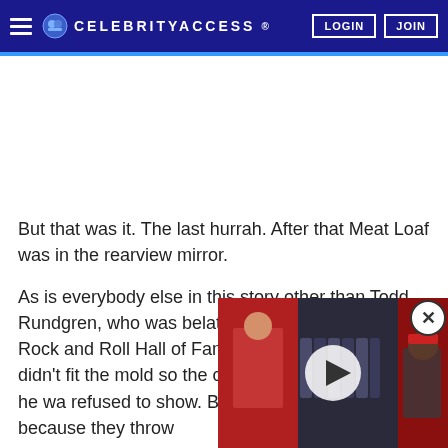CELEBRITYACCESS | LOGIN | JOIN
But that was it. The last hurrah. After that Meat Loaf was in the rearview mirror.
As is everybody else in this story other than Todd Rundgren, who was belatedly inducted into the Rock and Roll Hall of Fame. Never a kiss- Todd didn't fit the mold so the c fans gathered online and he wa refused to show. Because you c enemy just because they throw
[Figure (screenshot): Video player thumbnail overlay showing Selena Gomez in red dress on left, BTS group in center background, person in red MAGA hat on right. White play button in center. Close (X) button in top right corner.]